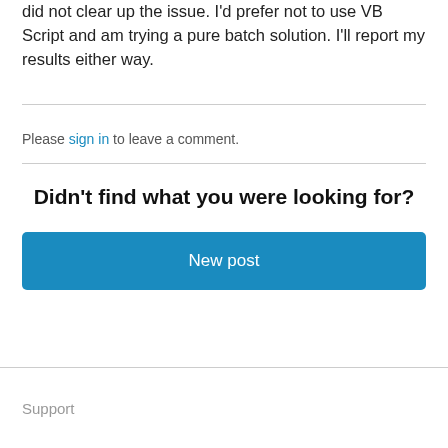did not clear up the issue. I'd prefer not to use VB Script and am trying a pure batch solution. I'll report my results either way.
Please sign in to leave a comment.
Didn't find what you were looking for?
New post
Support